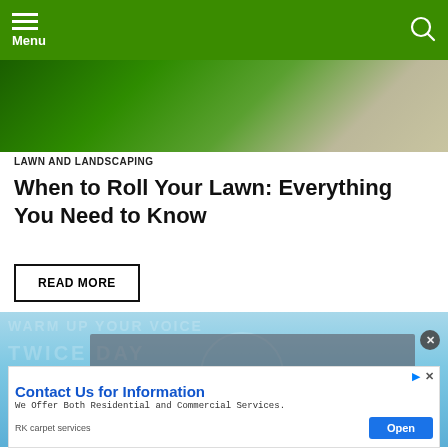Menu
[Figure (photo): Lawn and landscaping hero image showing green grass and pavement]
LAWN AND LANDSCAPING
When to Roll Your Lawn: Everything You Need to Know
READ MORE
[Figure (screenshot): Video player area with blue water background showing 'No compatible source was found for this media.' overlay message and text watermarks reading TWICE DAY and ROTA]
Contact Us for Information
We Offer Both Residential and Commercial Services.
RK carpet services
Open